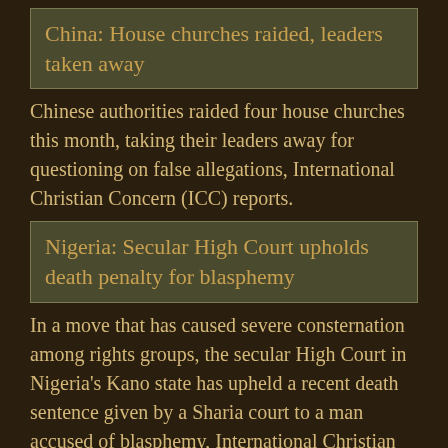China: House churches raided, leaders taken away
Chinese authorities raided four house churches this month, taking their leaders away for questioning on false allegations, International Christian Concern (ICC) reports.
Nigeria: Secular High Court upholds death penalty for blasphemy
In a move that has caused severe consternation among rights groups, the secular High Court in Nigeria's Kano state has upheld a recent death sentence given by a Sharia court to a man accused of blasphemy, International Christian Concern (ICC) reports. Controversially, Kano is one of 12 northern Nigerian states